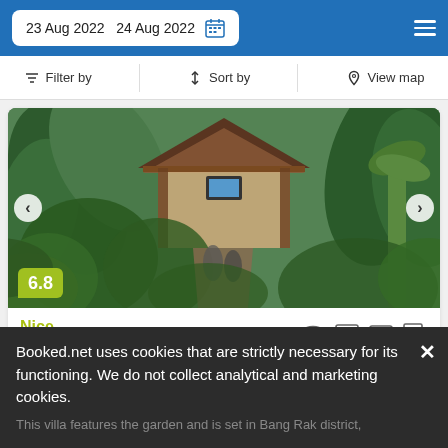23 Aug 2022  24 Aug 2022
Filter by  Sort by  View map
[Figure (photo): Hotel property surrounded by lush tropical greenery and vegetation, with a traditional Thai-style wooden roof building visible in the center. Score badge showing 6.8.]
Nice
13 reviews
The largest option:  3 adults  •  1 bedroom  •  1 bed
Booked.net uses cookies that are strictly necessary for its functioning. We do not collect analytical and marketing cookies.
This villa features the garden and is set in Bang Rak district,